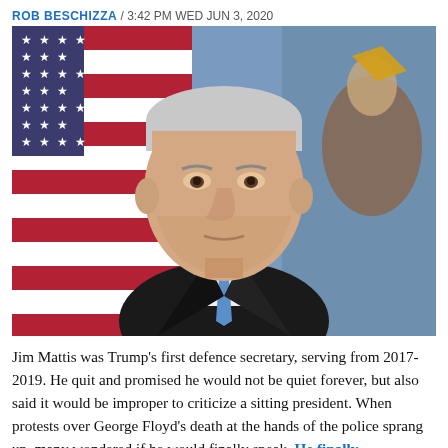ROB BESCHIZZA / 3:42 PM WED JUN 3, 2020
[Figure (photo): Official portrait of Jim Mattis, an older white-haired man in a dark suit with a blue tie, posed in front of an American flag and a military flag.]
Jim Mattis was Trump's first defence secretary, serving from 2017-2019. He quit and promised he would not be quiet forever, but also said it would be improper to criticize a sitting president. When protests over George Floyd's death at the hands of the police sprang up, many wondered if he would finally speak. He finally